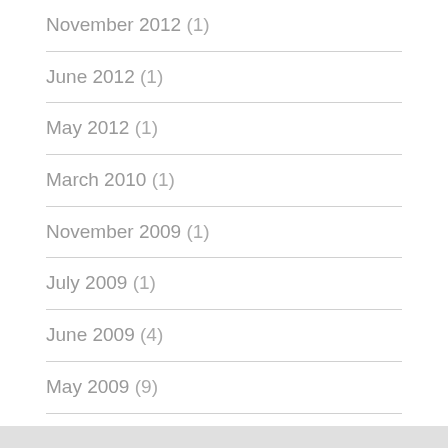November 2012 (1)
June 2012 (1)
May 2012 (1)
March 2010 (1)
November 2009 (1)
July 2009 (1)
June 2009 (4)
May 2009 (9)